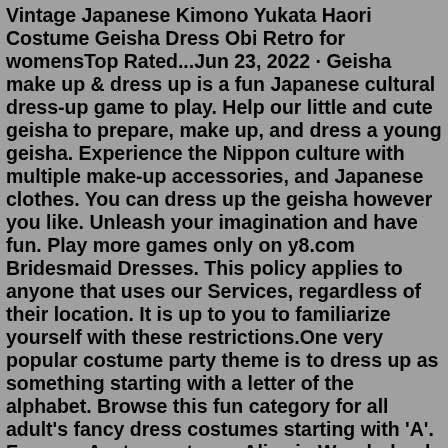Vintage Japanese Kimono Yukata Haori Costume Geisha Dress Obi Retro for womensTop Rated...Jun 23, 2022 · Geisha make up & dress up is a fun Japanese cultural dress-up game to play. Help our little and cute geisha to prepare, make up, and dress a young geisha. Experience the Nippon culture with multiple make-up accessories, and Japanese clothes. You can dress up the geisha however you like. Unleash your imagination and have fun. Play more games only on y8.com Bridesmaid Dresses. This policy applies to anyone that uses our Services, regardless of their location. It is up to you to familiarize yourself with these restrictions.One very popular costume party theme is to dress up as something starting with a letter of the alphabet. Browse this fun category for all adult's fancy dress costumes starting with 'A'. From an Avatar costume, Alice in Wonderland costume, Arabian Genie and Angel costume, to an Army man costume, Austin Powers and Addams Family costume, the ...Jun 23, 2022 · Chi tiết game. Geisha make up & dress up is a